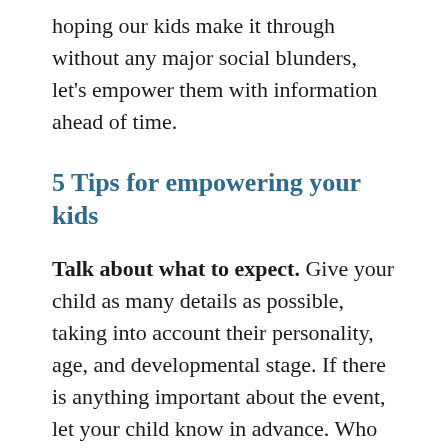hoping our kids make it through without any major social blunders, let's empower them with information ahead of time.
5 Tips for empowering your kids
Talk about what to expect. Give your child as many details as possible, taking into account their personality, age, and developmental stage. If there is anything important about the event, let your child know in advance. Who will be there? What will they be expected to wear? How long will the